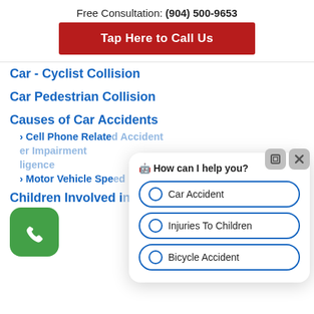Free Consultation: (904) 500-9653
Tap Here to Call Us
Car - Cyclist Collision
Car Pedestrian Collision
Causes of Car Accidents
› Cell Phone Related Accident
er Impairment
ligence
› Motor Vehicle Speed
Children Involved in Car Accident
[Figure (screenshot): Chat widget overlay with options: Car Accident, Injuries To Children, Bicycle Accident, and header emoji How can I help you?]
[Figure (illustration): Green rounded square phone call button / FAB]